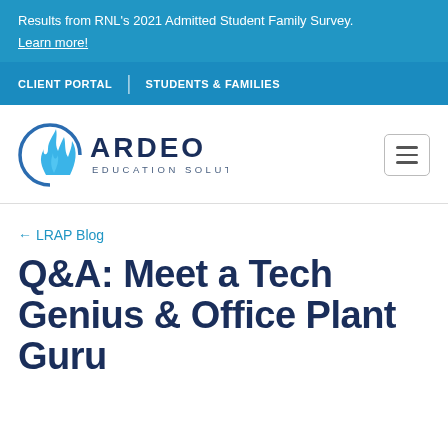Results from RNL's 2021 Admitted Student Family Survey.
Learn more!
CLIENT PORTAL | STUDENTS & FAMILIES
[Figure (logo): Ardeo Education Solutions logo with blue flame icon]
← LRAP Blog
Q&A: Meet a Tech Genius & Office Plant Guru